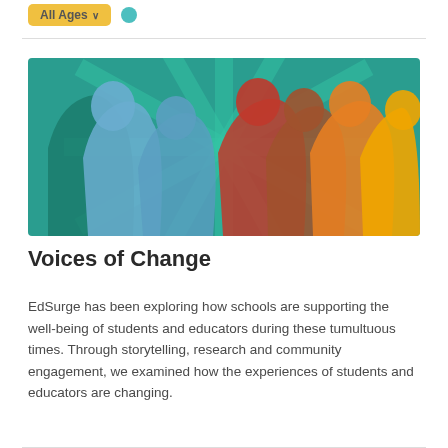All Ages
[Figure (illustration): Colorful illustration of silhouetted figures in profile against a teal/green sunburst background. Figures include blue-toned silhouettes on the left and warm orange/yellow/red silhouettes on the right, representing diverse people.]
Voices of Change
EdSurge has been exploring how schools are supporting the well-being of students and educators during these tumultuous times. Through storytelling, research and community engagement, we examined how the experiences of students and educators are changing.